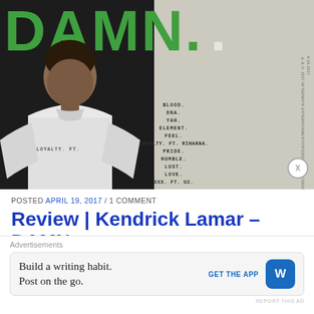[Figure (photo): Kendrick Lamar DAMN. album cover showing artist in white shirt against dark background, with green DAMN. text at top, tracklist in center-right, and textured right panel]
POSTED APRIL 19, 2017 / 1 COMMENT
Review | Kendrick Lamar – DAMN.
Advertisements
Build a writing habit. Post on the go. GET THE APP [WordPress icon]